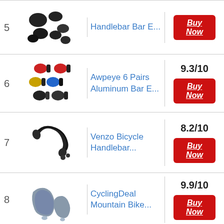5 - Handlebar Bar E... - Buy Now
6 - Awpeye 6 Pairs Aluminum Bar E... - 9.3/10 - Buy Now
7 - Venzo Bicycle Handlebar... - 8.2/10 - Buy Now
8 - CyclingDeal Mountain Bike... - 9.9/10 - Buy Now